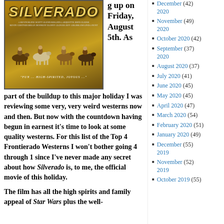[Figure (photo): Movie poster for Silverado showing four cowboys on horses with title text and credits]
g up on Friday, August 5th. As part of the buildup to this major holiday I was reviewing some very, very weird westerns now and then. But now with the countdown having begun in earnest it's time to look at some quality westerns. For this list of the Top 4 Frontierado Westerns I won't bother going 4 through 1 since I've never made any secret about how Silverado is, to me, the official movie of this holiday.
The film has all the high spirits and family appeal of Star Wars plus the well-
December 2020 (42)
November 2020 (49)
October 2020 (42)
September 2020 (37)
August 2020 (37)
July 2020 (41)
June 2020 (45)
May 2020 (45)
April 2020 (47)
March 2020 (54)
February 2020 (51)
January 2020 (49)
December 2019 (55)
November 2019 (52)
October 2019 (55)